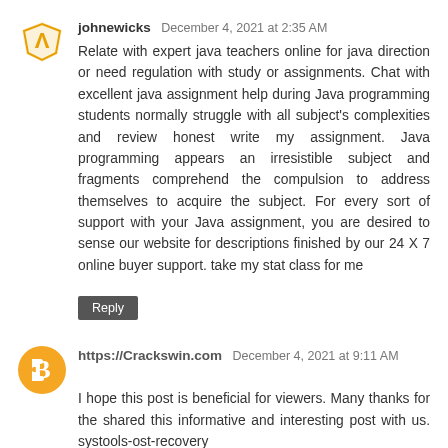johnewicks  December 4, 2021 at 2:35 AM
Relate with expert java teachers online for java direction or need regulation with study or assignments. Chat with excellent java assignment help during Java programming students normally struggle with all subject's complexities and review honest write my assignment. Java programming appears an irresistible subject and fragments comprehend the compulsion to address themselves to acquire the subject. For every sort of support with your Java assignment, you are desired to sense our website for descriptions finished by our 24 X 7 online buyer support. take my stat class for me
Reply
https://Crackswin.com  December 4, 2021 at 9:11 AM
I hope this post is beneficial for viewers. Many thanks for the shared this informative and interesting post with us. systools-ost-recovery